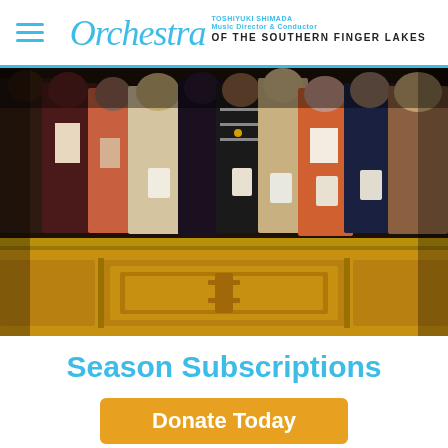Orchestra of the Southern Finger Lakes — TOSHIYUKI SHIMADA, Music Director & Conductor
[Figure (photo): Audience members standing in a concert venue, holding programs, in front of ornate wooden pews/balcony railing with golden-yellow paneling]
Season Subscriptions
Donate Today